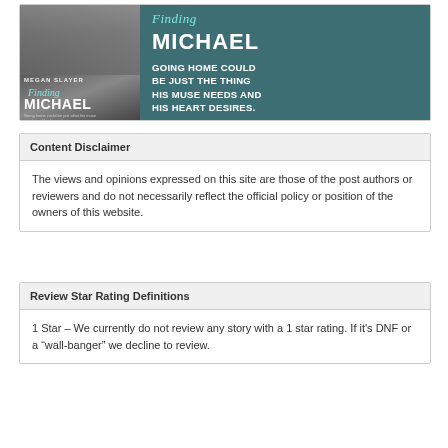[Figure (illustration): Book promotional banner for 'Finding Michael' by Megan Slayer. Left side shows a book cover with two men and the title/author. Right side has teal background with text 'Finding MICHAEL' and tagline 'GOING HOME COULD BE JUST THE THING HIS MUSE NEEDS AND HIS HEART DESIRES.']
Content Disclaimer
The views and opinions expressed on this site are those of the post authors or reviewers and do not necessarily reflect the official policy or position of the owners of this website.
Review Star Rating Definitions
1 Star – We currently do not review any story with a 1 star rating. If it's DNF or a “wall-banger” we decline to review.